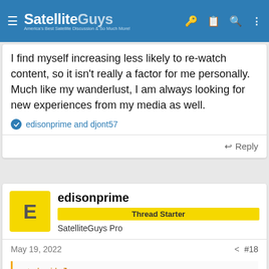SatelliteGuys — America's Best Satellite Discussion & So Much More!
I find myself increasing less likely to re-watch content, so it isn't really a factor for me personally. Much like my wanderlust, I am always looking for new experiences from my media as well.
edisonprime and djont57
Reply
edisonprime
Thread Starter
SatelliteGuys Pro
May 19, 2022
#18
ncted said: